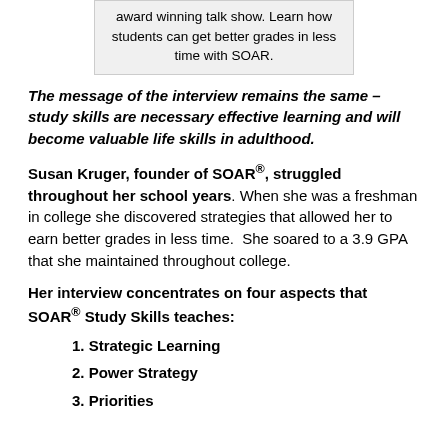award winning talk show. Learn how students can get better grades in less time with SOAR.
The message of the interview remains the same – study skills are necessary effective learning and will become valuable life skills in adulthood.
Susan Kruger, founder of SOAR®, struggled throughout her school years. When she was a freshman in college she discovered strategies that allowed her to earn better grades in less time. She soared to a 3.9 GPA that she maintained throughout college.
Her interview concentrates on four aspects that SOAR® Study Skills teaches:
1. Strategic Learning
2. Power Strategy
3. Priorities